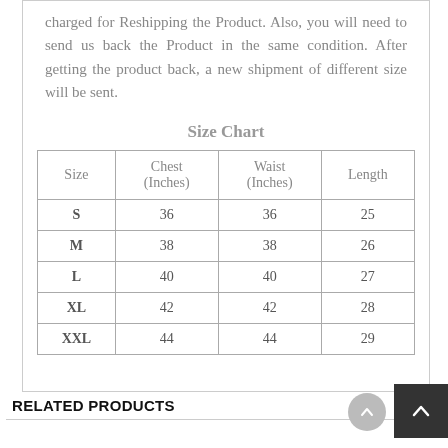charged for Reshipping the Product. Also, you will need to send us back the Product in the same condition. After getting the product back, a new shipment of different size will be sent.
Size Chart
| Size | Chest
(Inches) | Waist
(Inches) | Length |
| --- | --- | --- | --- |
| S | 36 | 36 | 25 |
| M | 38 | 38 | 26 |
| L | 40 | 40 | 27 |
| XL | 42 | 42 | 28 |
| XXL | 44 | 44 | 29 |
RELATED PRODUCTS